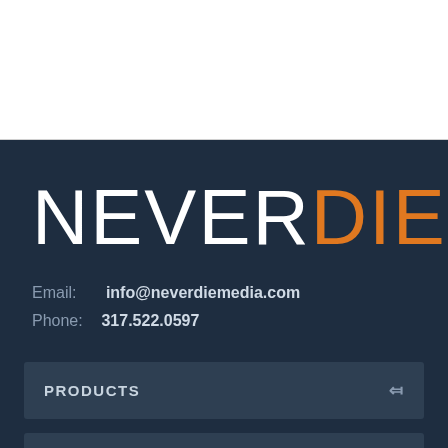[Figure (logo): NeverDie Media logo with NEVER in white and DIE in orange, MEDIA in small white vertical text]
Email:  info@neverdiemedia.com
Phone:  317.522.0597
PRODUCTS
SUPPORT